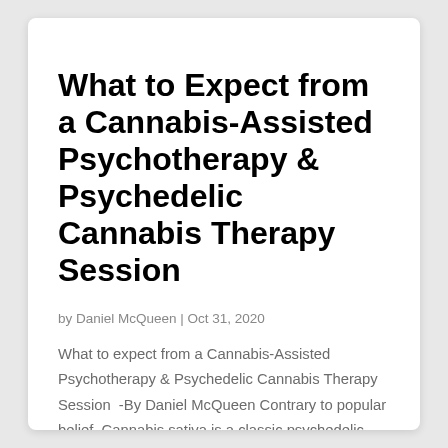What to Expect from a Cannabis-Assisted Psychotherapy & Psychedelic Cannabis Therapy Session
by Daniel McQueen | Oct 31, 2020
What to expect from a Cannabis-Assisted Psychotherapy & Psychedelic Cannabis Therapy Session  -By Daniel McQueen Contrary to popular belief, Cannabis sativa is a classic psychedelic. Until recently, however, it just wasn't grown with the quality, potency, and...